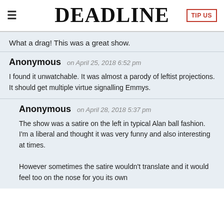DEADLINE
What a drag! This was a great show.
Anonymous on April 25, 2018 6:52 pm
I found it unwatchable. It was almost a parody of leftist projections. It should get multiple virtue signalling Emmys.
Anonymous on April 28, 2018 5:37 pm
The show was a satire on the left in typical Alan ball fashion. I'm a liberal and thought it was very funny and also interesting at times.
However sometimes the satire wouldn't translate and it would feel too on the nose for you its own